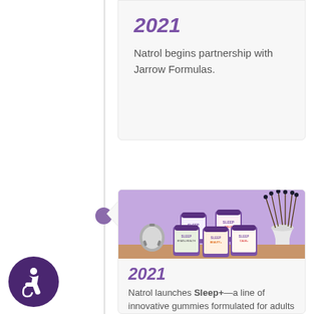2021
Natrol begins partnership with Jarrow Formulas.
[Figure (photo): Photo of Natrol Sleep+ gummy product jars arranged on a wooden surface with a lavender/purple background, an alarm clock on the left, and a white vase with decorative branches on the right. Multiple purple-lidded jars labeled SLEEP+ in various formulations for adults and kids.]
2021
Natrol launches Sleep+—a line of innovative gummies formulated for adults and kids. The sleep aid gummies are